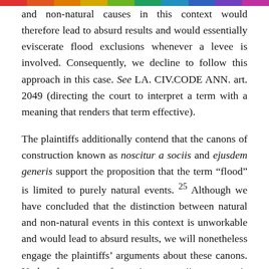and non-natural causes in this context would therefore lead to absurd results and would essentially eviscerate flood exclusions whenever a levee is involved. Consequently, we decline to follow this approach in this case. See LA. CIV.CODE ANN. art. 2049 (directing the court to interpret a term with a meaning that renders that term effective).
The plaintiffs additionally contend that the canons of construction known as noscitur a sociis and ejusdem generis support the proposition that the term "flood" is limited to purely natural events. 25 Although we have concluded that the distinction between natural and non-natural events in this context is unworkable and would lead to absurd results, we will nonetheless engage the plaintiffs' arguments about these canons. Under the canon of noscitur a sociis, a term is interpreted by considering the meaning of the terms associated with it. See United States v.